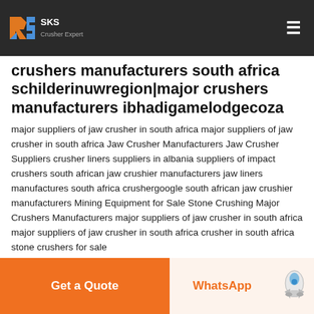SKS crushers manufacturers south africa schilderinuwregion|major crushers manufacturers ibhadigamelodgecoza
crushers manufacturers south africa schilderinuwregion|major crushers manufacturers ibhadigamelodgecoza
major suppliers of jaw crusher in south africa major suppliers of jaw crusher in south africa Jaw Crusher Manufacturers Jaw Crusher Suppliers crusher liners suppliers in albania suppliers of impact crushers south african jaw crushier manufacturers jaw liners manufactures south africa crushergoogle south african jaw crushier manufacturers Mining Equipment for Sale Stone Crushing Major Crushers Manufacturers major suppliers of jaw crusher in south africa major suppliers of jaw crusher in south africa crusher in south africa stone crushers for sale